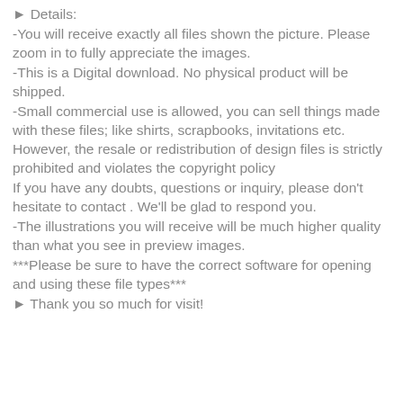► Details:
-You will receive exactly all files shown the picture. Please zoom in to fully appreciate the images.
-This is a Digital download. No physical product will be shipped.
-Small commercial use is allowed, you can sell things made with these files; like shirts, scrapbooks, invitations etc.
However, the resale or redistribution of design files is strictly prohibited and violates the copyright policy
If you have any doubts, questions or inquiry, please don't hesitate to contact . We'll be glad to respond you.
-The illustrations you will receive will be much higher quality than what you see in preview images.
***Please be sure to have the correct software for opening and using these file types***
► Thank you so much for visit!